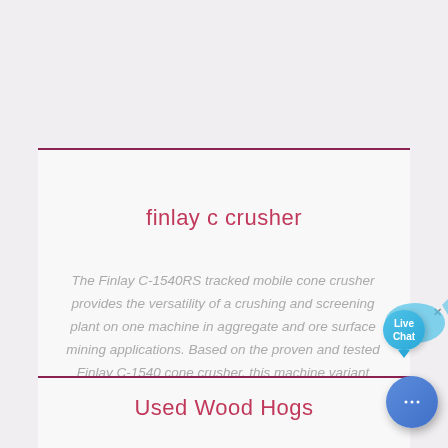finlay c crusher
The Finlay C-1540RS tracked mobile cone crusher provides the versatility of a crushing and screening plant on one machine in aggregate and ore surface mining applications. Based on the proven and tested Finlay C-1540 cone crusher, this machine variant features an innovative on-board recirculating system and detachable sizing screen.
Used Wood Hogs